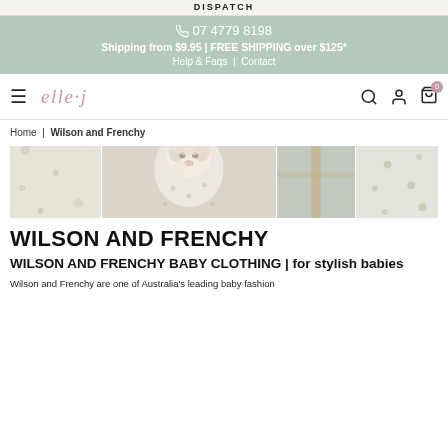DISPATCH
☎ 07 4779 8198
Shipping from $9.95 | FREE SHIPPING over $125*
Help & Faqs | Contact
[Figure (logo): elle·j brand logo in rose/pink italic serif font]
Home | Wilson and Frenchy
[Figure (photo): Banner collage of Wilson and Frenchy baby clothing items: baby in white printed onesie, fabric close-ups with botanical prints, and nursery accessories]
WILSON AND FRENCHY
WILSON AND FRENCHY BABY CLOTHING | for stylish babies
Wilson and Frenchy are one of Australia's leading baby fashion